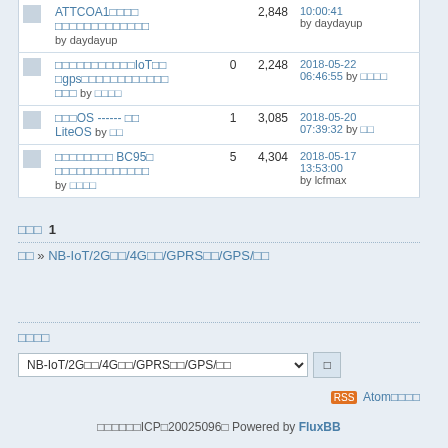|  | 主题 | 回复 | 浏览 | 最后发帖 |
| --- | --- | --- | --- | --- |
|  | ATTCOA1□□□□
□□□□□□□□□□□□□
by daydayup |  | 2,848 | 10:00:41
by daydayup |
|  | □□□□□□□□□□□IoT□□
□gps□□□□□□□□□□□□
□□□ by □□□□ | 0 | 2,248 | 2018-05-22
06:46:55 by □□□□ |
|  | □□□OS ------ □□
LiteOS by □□ | 1 | 3,085 | 2018-05-20
07:39:32 by □□ |
|  | □□□□□□□□ BC95□
□□□□□□□□□□□□□
by □□□□ | 5 | 4,304 | 2018-05-17
13:53:00
by lcfmax |
□□□  1
□□ » NB-IoT/2G□□/4G□□/GPRS□□/GPS/□□
□□□□
NB-IoT/2G□□/4G□□/GPRS□□/GPS/□□
Atom□□□□
□□□□□□ICP□20025096□ Powered by FluxBB